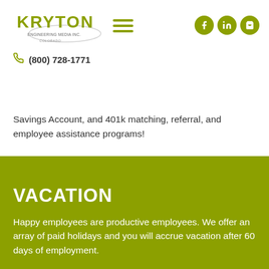Kryton Engineering Media Inc. | (800) 728-1771
Savings Account, and 401k matching, referral, and employee assistance programs!
VACATION
Happy employees are productive employees. We offer an array of paid holidays and you will accrue vacation after 60 days of employment.